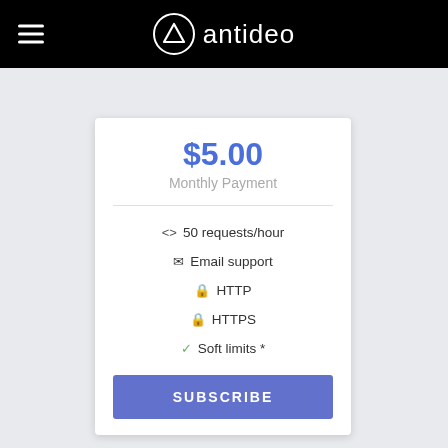antideo
$5.00
Monthly Payment
<> 50 requests/hour
✉ Email support
🔒 HTTP
🔒 HTTPS
✓ Soft limits *
SUBSCRIBE